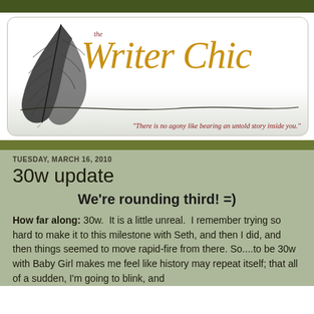[Figure (logo): The Writer Chic blog logo featuring a black quill feather on the left and cursive gold text reading 'the Writer Chic' with tagline 'There is no agony like bearing an untold story inside you.']
TUESDAY, MARCH 16, 2010
30w update
We're rounding third! =)
How far along: 30w.  It is a little unreal.  I remember trying so hard to make it to this milestone with Seth, and then I did, and then things seemed to move rapid-fire from there. So....to be 30w with Baby Girl makes me feel like history may repeat itself; that all of a sudden, I'm going to blink, and